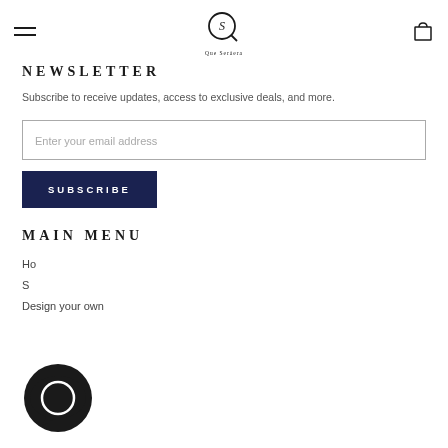Que Serásera logo header with hamburger menu and cart icon
NEWSLETTER
Subscribe to receive updates, access to exclusive deals, and more.
Enter your email address
SUBSCRIBE
MAIN MENU
Home
Shop
Design your own